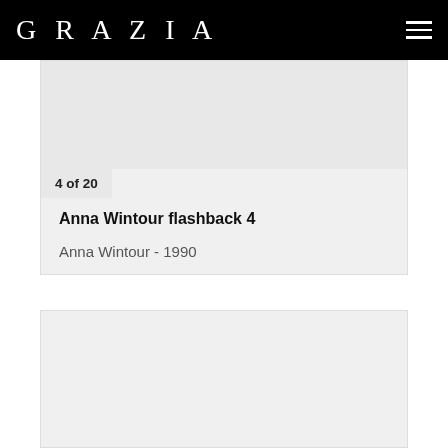GRAZIA
4 of 20
Anna Wintour flashback 4
Anna Wintour - 1990
[Figure (photo): Placeholder image area for Anna Wintour flashback 4 photo]